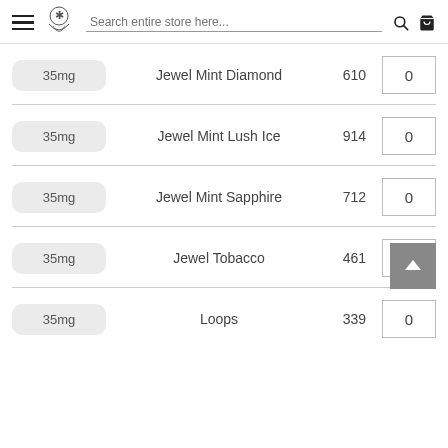Search entire store here...
| Strength | Product Name | SKU | Qty |
| --- | --- | --- | --- |
| 35mg | Jewel Mint Diamond | 610 | 0 |
| 35mg | Jewel Mint Lush Ice | 914 | 0 |
| 35mg | Jewel Mint Sapphire | 712 | 0 |
| 35mg | Jewel Tobacco | 461 | 0 |
| 35mg | Loops | 339 | 0 |